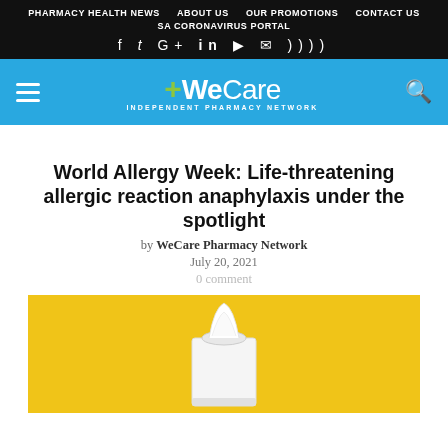PHARMACY HEALTH NEWS   ABOUT US   OUR PROMOTIONS   CONTACT US   SA CORONAVIRUS PORTAL
[Figure (logo): WeCare Independent Pharmacy Network logo with green plus sign on blue background]
World Allergy Week: Life-threatening allergic reaction anaphylaxis under the spotlight
by WeCare Pharmacy Network
July 20, 2021
0 comment
[Figure (photo): White tissue box on yellow background]